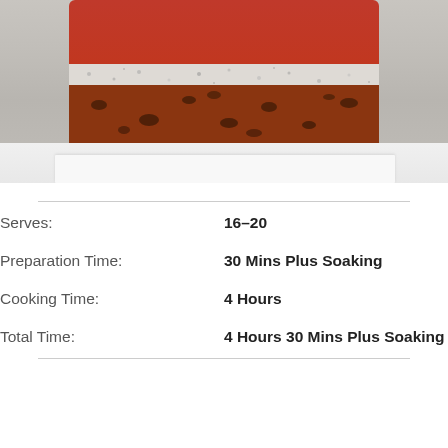[Figure (photo): Photo of a Christmas fruit cake with red marzipan/fondant top, white icing layer, and dark fruit cake body, sitting on a white surface against a light grey background.]
| Serves: | 16–20 |
| Preparation Time: | 30 Mins Plus Soaking |
| Cooking Time: | 4 Hours |
| Total Time: | 4 Hours 30 Mins Plus Soaking |